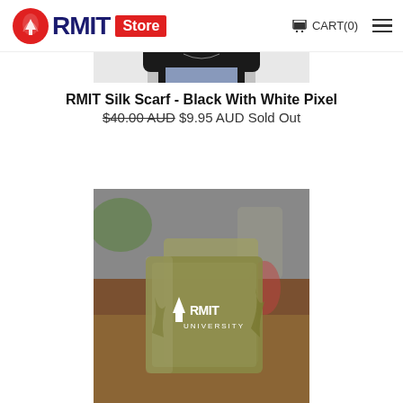RMIT Store  CART(0)
[Figure (photo): Partial view of a woman wearing a black top, cropped from the shoulders down, product photo for silk scarf]
RMIT Silk Scarf - Black With White Pixel
$40.00 AUD $9.95 AUD Sold Out
[Figure (photo): RMIT University branded glass coaster product photo displayed in a café/restaurant setting with blurred background]